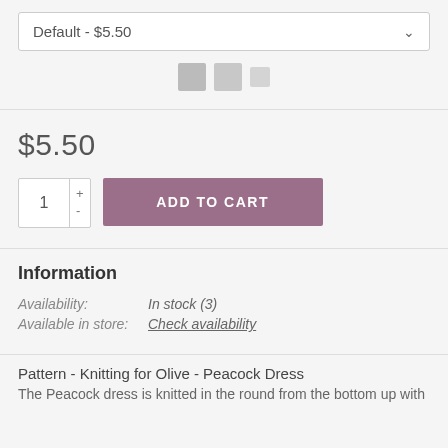Default - $5.50
[Figure (other): Three small grey thumbnail squares]
$5.50
1 + - ADD TO CART
Information
Availability: In stock (3)
Available in store: Check availability
Pattern - Knitting for Olive - Peacock Dress
The Peacock dress is knitted in the round from the bottom up with